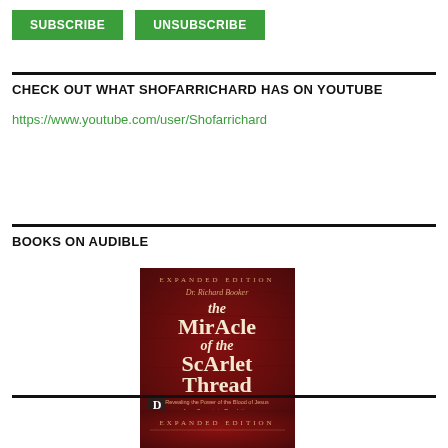SUBSCRIBE
UNSUBSCRIBE
CHECK OUT WHAT SHOFARRICHARD HAS ON YOUTUBE
https://www.youtube.com/user/Shofarrichard
BOOKS ON AUDIBLE
[Figure (illustration): Book cover: The Miracle of the Scarlet Thread by Dr. Richard Booker, Expanded Edition. Dark red leather texture background with ornate white lettering.]
[Figure (illustration): Partial view of another book cover, Expanded Edition, partially cropped at bottom of page.]